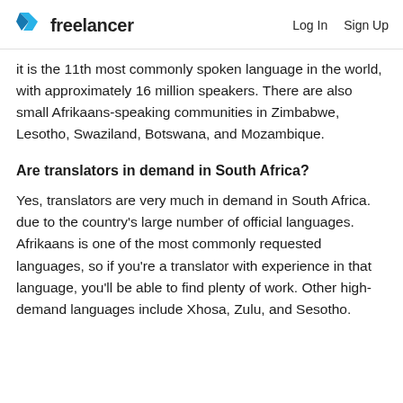freelancer   Log In   Sign Up
It is the 11th most commonly spoken language in the world, with approximately 16 million speakers. There are also small Afrikaans-speaking communities in Zimbabwe, Lesotho, Swaziland, Botswana, and Mozambique.
Are translators in demand in South Africa?
Yes, translators are very much in demand in South Africa. due to the country's large number of official languages. Afrikaans is one of the most commonly requested languages, so if you're a translator with experience in that language, you'll be able to find plenty of work. Other high-demand languages include Xhosa, Zulu, and Sesotho.